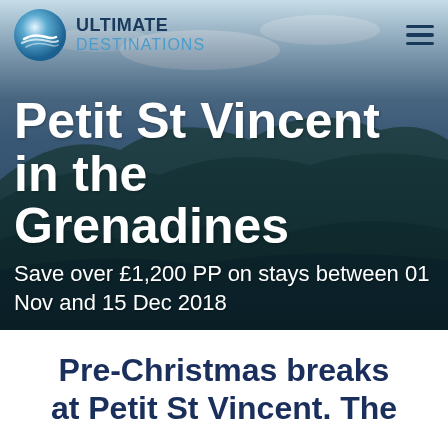[Figure (photo): Hero image of Petit St Vincent island in the Grenadines with tropical landscape, blue sky and hills covered in green vegetation]
ULTIMATE DESTINATIONS
Petit St Vincent in the Grenadines
Save over £1,200 PP on stays between 01 Nov and 15 Dec 2018
Pre-Christmas breaks at Petit St Vincent. The